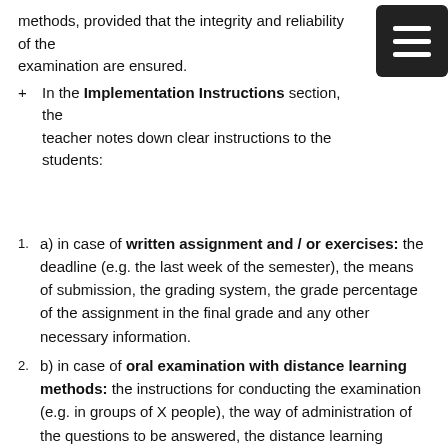methods, provided that the integrity and reliability of the examination are ensured.
In the Implementation Instructions section, the teacher notes down clear instructions to the students:
1. a) in case of written assignment and / or exercises: the deadline (e.g. the last week of the semester), the means of submission, the grading system, the grade percentage of the assignment in the final grade and any other necessary information.
2. b) in case of oral examination with distance learning methods: the instructions for conducting the examination (e.g. in groups of X people), the way of administration of the questions to be answered, the distance learning platforms to be used, the technical means for the implementation of the examination (microphone, camera, word processor, internet connection, communication platform), the hyperlinks for